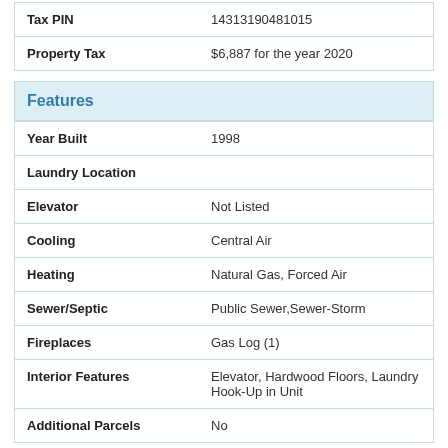| Field | Value |
| --- | --- |
| Tax PIN | 14313190481015 |
| Property Tax | $6,887 for the year 2020 |
| Field | Value |
| --- | --- |
| Features |  |
| Year Built | 1998 |
| Laundry Location |  |
| Elevator | Not Listed |
| Cooling | Central Air |
| Heating | Natural Gas, Forced Air |
| Sewer/Septic | Public Sewer,Sewer-Storm |
| Fireplaces | Gas Log (1) |
| Interior Features | Elevator, Hardwood Floors, Laundry Hook-Up in Unit |
| Additional Parcels | No |